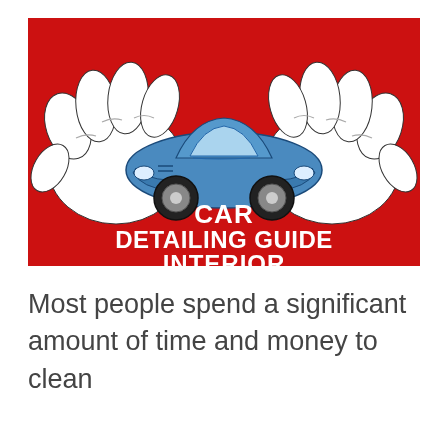[Figure (illustration): Red background banner image showing two large white cartoon gloved hands cradling a blue sports car in the center. Below the car in bold white uppercase text: CAR DETAILING GUIDE INTERIOR]
Most people spend a significant amount of time and money to clean